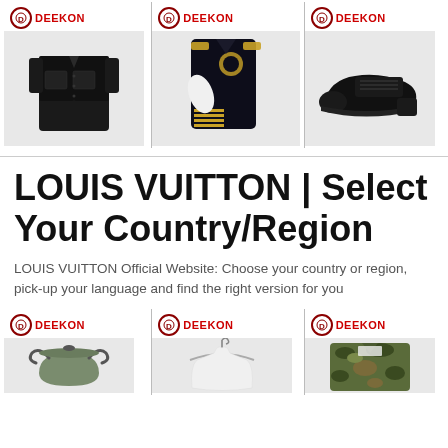[Figure (illustration): Three product images with DEEKON logo: black military shirt, naval officer uniform jacket, black leather shoe]
LOUIS VUITTON | Select Your Country/Region
LOUIS VUITTON Official Website: Choose your country or region, pick-up your language and find the right version for you
[Figure (illustration): Three product images with DEEKON logo: military cookware/pot, white tank top on hanger, camouflage vest]